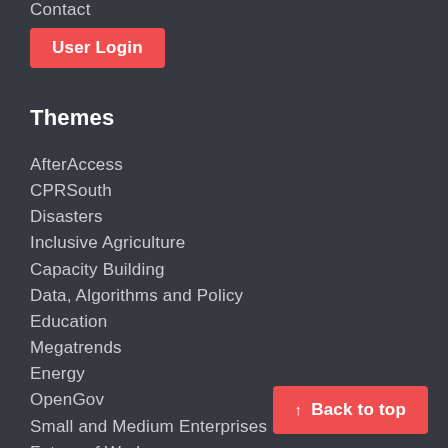Contact
User Login
Themes
AfterAccess
CPRSouth
Disasters
Inclusive Agriculture
Capacity Building
Data, Algorithms and Policy
Education
Megatrends
Energy
OpenGov
Small and Medium Enterprises
Future of Work
Policy and Regulation
COVID-19
↑ Back to top